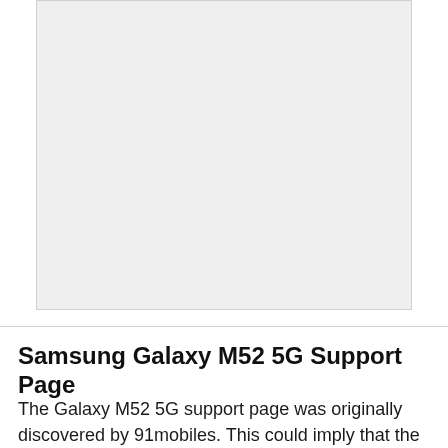[Figure (other): Advertisement placeholder box with 'Ad' label at top center, light gray background]
Samsung Galaxy M52 5G Support Page
The Galaxy M52 5G support page was originally discovered by 91mobiles. This could imply that the South Korean...